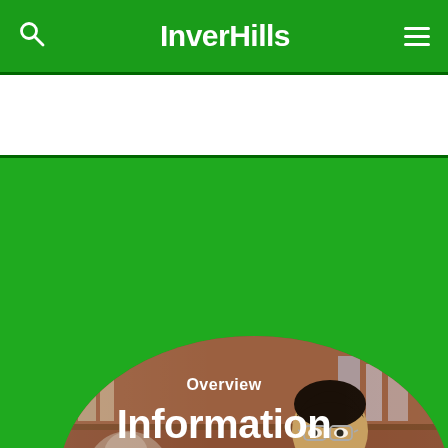InverHills
Overview
[Figure (photo): Young male student wearing glasses, sitting at a table with a laptop, resting his chin on his hand in a thinking pose, with other students blurred in the background. Photo is cropped in a semicircular arch shape on a green background.]
Overview
Information